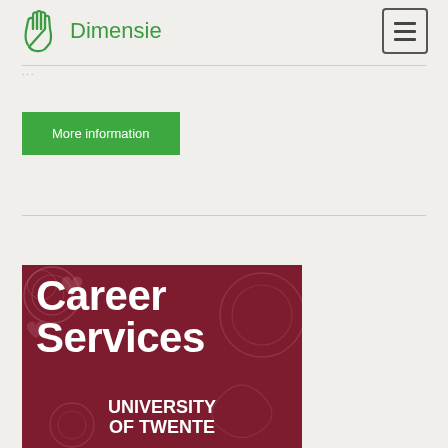[Figure (logo): Dimensie logo with green hand icon and green text 'Dimensie']
More information
[Figure (photo): Career Services University of Twente promotional image with dark red background, decorative swirl patterns, bold white text reading 'Career Services UNIVERSITY OF TWENTE']